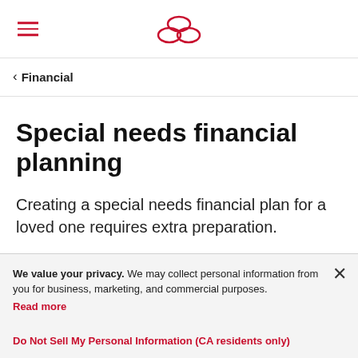Hamburger menu and logo
< Financial
Special needs financial planning
Creating a special needs financial plan for a loved one requires extra preparation.
We value your privacy. We may collect personal information from you for business, marketing, and commercial purposes. Read more
Do Not Sell My Personal Information (CA residents only)